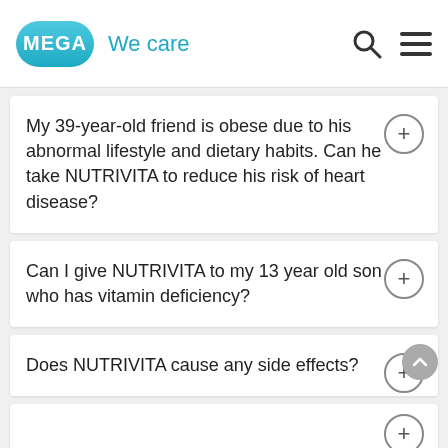MEGA We care
My 39-year-old friend is obese due to his abnormal lifestyle and dietary habits. Can he take NUTRIVITA to reduce his risk of heart disease?
Can I give NUTRIVITA to my 13 year old son who has vitamin deficiency?
Does NUTRIVITA cause any side effects?